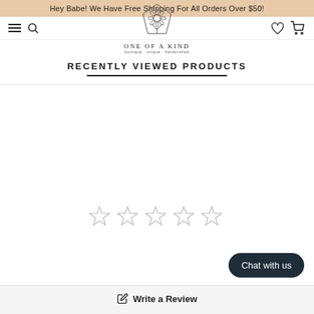Hey Babe! We Have Free Shipping For All Orders Over $50!
[Figure (logo): One of a Kind boutique logo — line drawing of a sunflower inside a pentagon frame, with text 'ONE OF A KIND' and tagline below]
RECENTLY VIEWED PRODUCTS
[Figure (other): Five empty star rating icons in a row]
Write a Review